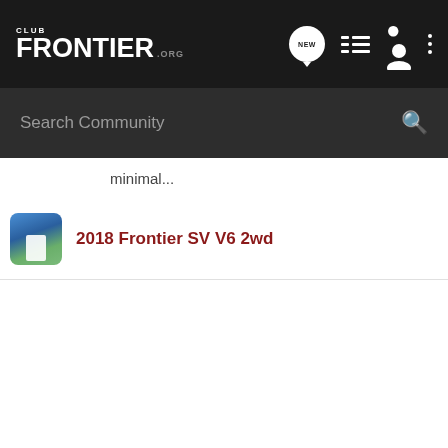Club Frontier .org — NEW, list, person, menu icons header
minimal...
2018 Frontier SV V6 2wd